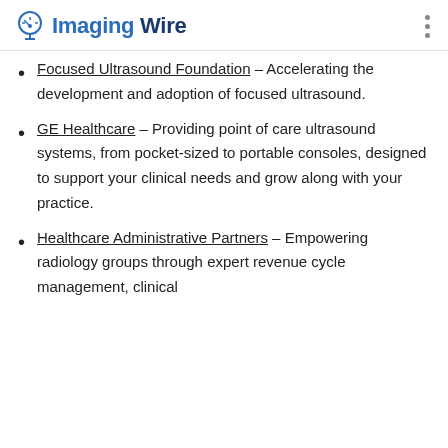Imaging Wire
Focused Ultrasound Foundation – Accelerating the development and adoption of focused ultrasound.
GE Healthcare – Providing point of care ultrasound systems, from pocket-sized to portable consoles, designed to support your clinical needs and grow along with your practice.
Healthcare Administrative Partners – Empowering radiology groups through expert revenue cycle management, clinical